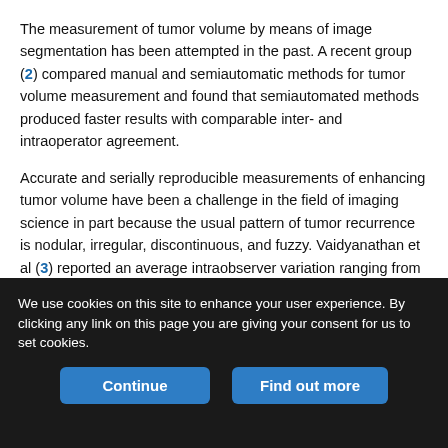The measurement of tumor volume by means of image segmentation has been attempted in the past. A recent group (2) compared manual and semiautomatic methods for tumor volume measurement and found that semiautomated methods produced faster results with comparable inter- and intraoperator agreement.
Accurate and serially reproducible measurements of enhancing tumor volume have been a challenge in the field of imaging science in part because the usual pattern of tumor recurrence is nodular, irregular, discontinuous, and fuzzy. Vaidyanathan et al (3) reported an average intraobserver variation ranging from 5.8% to 8.9% for three semisupervised and unsupervised methods. The average interobserver variability ranged from 5.5% to 11.4% (3). In the study
We use cookies on this site to enhance your user experience. By clicking any link on this page you are giving your consent for us to set cookies.